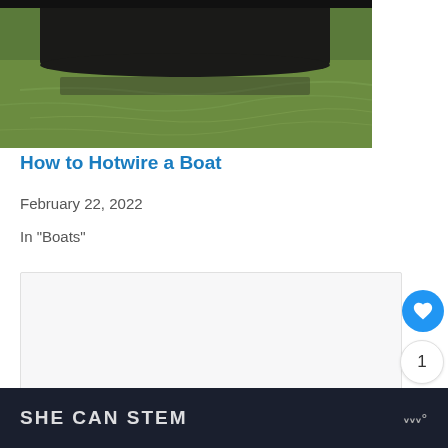[Figure (photo): Partial view of a dark boat hull on green water, photo cropped at top]
How to Hotwire a Boat
February 22, 2022
In "Boats"
[Figure (other): Light gray content card area with like button (heart icon, blue circle), like count (1), and share button]
SHE CAN STEM